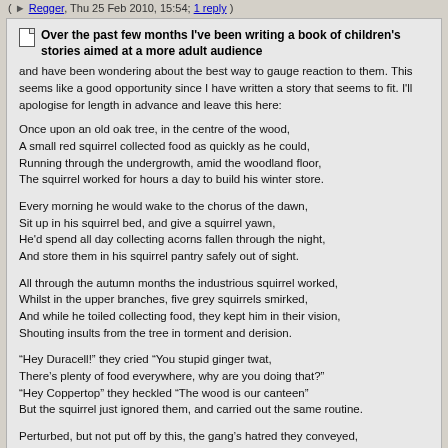( Regger, Thu 25 Feb 2010, 15:54; 1 reply )
Over the past few months I've been writing a book of children's stories aimed at a more adult audience and have been wondering about the best way to gauge reaction to them. This seems like a good opportunity since I have written a story that seems to fit. I'll apologise for length in advance and leave this here:
Once upon an old oak tree, in the centre of the wood,
A small red squirrel collected food as quickly as he could,
Running through the undergrowth, amid the woodland floor,
The squirrel worked for hours a day to build his winter store.
Every morning he would wake to the chorus of the dawn,
Sit up in his squirrel bed, and give a squirrel yawn,
He'd spend all day collecting acorns fallen through the night,
And store them in his squirrel pantry safely out of sight.
All through the autumn months the industrious squirrel worked,
Whilst in the upper branches, five grey squirrels smirked,
And while he toiled collecting food, they kept him in their vision,
Shouting insults from the tree in torment and derision.
“Hey Duracell!” they cried “You stupid ginger twat,
There's plenty of food everywhere, why are you doing that?"
“Hey Coppertop” they heckled “The wood is our canteen”
But the squirrel just ignored them, and carried out the same routine.
Perturbed, but not put off by this, the gang’s hatred they conveyed,
“What’s the difference between a brick and a ginger?...The ginger can’t get laid”
The jokes were never ending, a torrent of abuse,